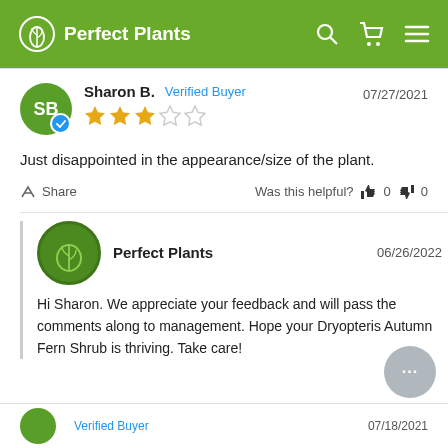Perfect Plants
Sharon B.  Verified Buyer  07/27/2021  ★★★☆☆
Just disappointed in the appearance/size of the plant.
Share  Was this helpful?  👍 0  👎 0
Perfect Plants  06/26/2022
Hi Sharon. We appreciate your feedback and will pass the comments along to management. Hope your Dryopteris Autumn Fern Shrub is thriving. Take care!